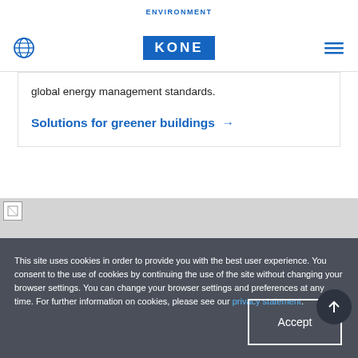ENVIRONMENT
[Figure (logo): KONE corporate logo and navigation bar with globe icon and hamburger menu]
global energy management standards.
Solutions for greener buildings →
[Figure (photo): Partially loaded image placeholder]
This site uses cookies in order to provide you with the best user experience. You consent to the use of cookies by continuing the use of the site without changing your browser settings. You can change your browser settings and preferences at any time. For further information on cookies, please see our privacy statement.